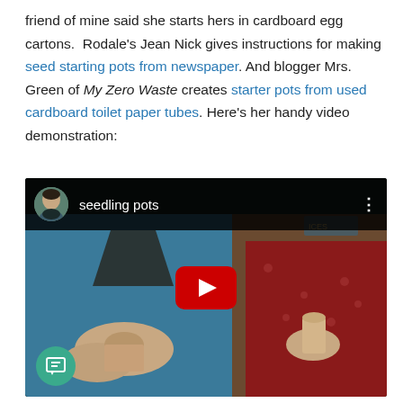friend of mine said she starts hers in cardboard egg cartons.  Rodale's Jean Nick gives instructions for making seed starting pots from newspaper. And blogger Mrs. Green of My Zero Waste creates starter pots from used cardboard toilet paper tubes. Here's her handy video demonstration:
[Figure (screenshot): Embedded YouTube video thumbnail titled 'seedling pots' showing two people at a table demonstrating how to make seedling pots from cardboard toilet paper tubes. Red YouTube play button overlay in center. Small circular avatar in top-left corner of video player bar. Three-dot menu icon in top-right.]